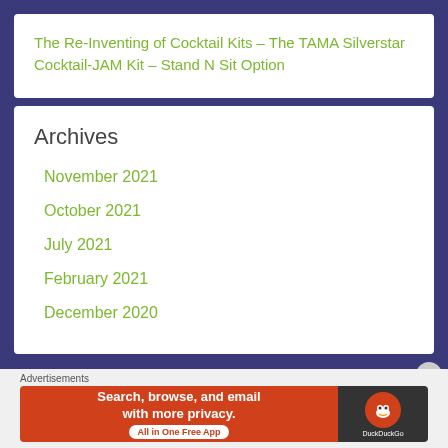The Re-Inventing of Cocktail Kits – The TAMA Silverstar Cocktail-JAM Kit – Stand N Sit Option
Archives
November 2021
October 2021
July 2021
February 2021
December 2020
Advertisements
[Figure (screenshot): DuckDuckGo advertisement banner: Search, browse, and email with more privacy. All in One Free App. DuckDuckGo logo on right side.]